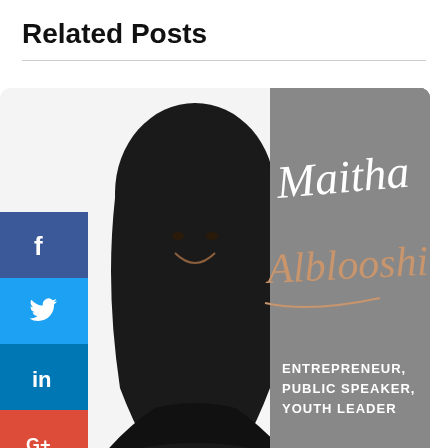Related Posts
[Figure (photo): Promotional card image for Maitha Alblooshi — a woman wearing a black hijab and abaya smiling, with stylized text reading 'Maitha Alblooshi, Entrepreneur, Public Speaker, Youth Leader' on a grey background.]
itha Alblooshy, budding entrepreneur and youth leader, shares her journey
[Figure (photo): Partially visible second related post card showing a woman in professional attire with script text 'Dahlia Tessler' visible.]